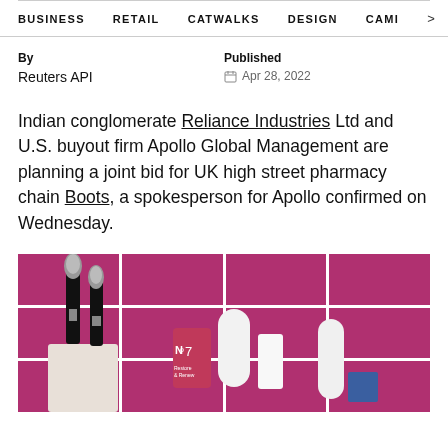BUSINESS    RETAIL    CATWALKS    DESIGN    CAMI  >
By
Published
Reuters API
Apr 28, 2022
Indian conglomerate Reliance Industries Ltd and U.S. buyout firm Apollo Global Management are planning a joint bid for UK high street pharmacy chain Boots, a spokesperson for Apollo confirmed on Wednesday.
[Figure (photo): No7 beauty products including makeup brushes in a holder and skincare tubes, against a pink/magenta tiled wall background]